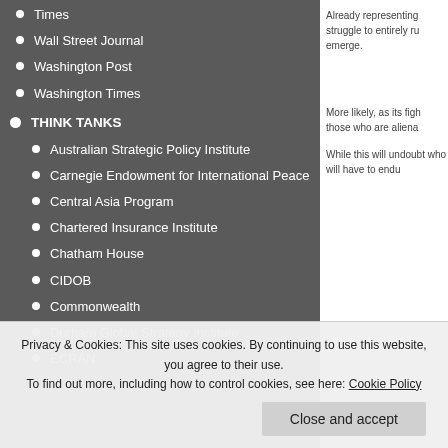Times
Wall Street Journal
Washington Post
Washington Times
THINK TANKS
Australian Strategic Policy Institute
Carnegie Endowment for International Peace
Central Asia Program
Chartered Insurance Institute
Chatham House
CIDOB
Commonwealth
Durham Global Strategy Institute
ECRAN
Already representing struggle to entirely ru emerge.
More likely, as its figh those who are aliena
While this will undoubt who will have to endu
Privacy & Cookies: This site uses cookies. By continuing to use this website, you agree to their use. To find out more, including how to control cookies, see here: Cookie Policy